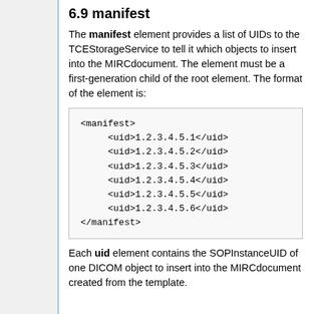6.9 manifest
The manifest element provides a list of UIDs to the TCEStorageService to tell it which objects to insert into the MIRCdocument. The element must be a first-generation child of the root element. The format of the element is:
<manifest>
    <uid>1.2.3.4.5.1</uid>
    <uid>1.2.3.4.5.2</uid>
    <uid>1.2.3.4.5.3</uid>
    <uid>1.2.3.4.5.4</uid>
    <uid>1.2.3.4.5.5</uid>
    <uid>1.2.3.4.5.6</uid>
</manifest>
Each uid element contains the SOPInstanceUID of one DICOM object to insert into the MIRCdocument created from the template.